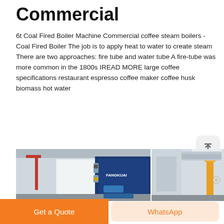Commercial
6t Coal Fired Boiler Machine Commercial coffee steam boilers - Coal Fired Boiler The job is to apply heat to water to create steam There are two approaches: fire tube and water tube A fire-tube was more common in the 1800s IREAD MORE large coffee specifications restaurant espresso coffee maker coffee husk biomass hot water
Get A Quote
[Figure (photo): Industrial boiler machines - two images side by side showing commercial boiler equipment including a white and blue boiler unit with the brand FANGKUAI visible, and industrial piping and yellow equipment]
Get a Quote
WhatsApp